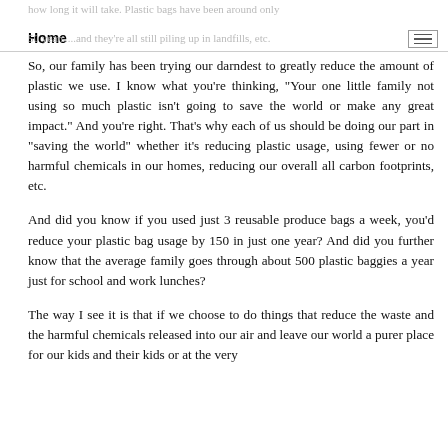how long it will take. Plastic bags have been around only 50 years....and they're all still piling up in landfills, etc.
So, our family has been trying our darndest to greatly reduce the amount of plastic we use. I know what you're thinking, "Your one little family not using so much plastic isn't going to save the world or make any great impact." And you're right. That's why each of us should be doing our part in "saving the world" whether it's reducing plastic usage, using fewer or no harmful chemicals in our homes, reducing our overall all carbon footprints, etc.
And did you know if you used just 3 reusable produce bags a week, you'd reduce your plastic bag usage by 150 in just one year? And did you further know that the average family goes through about 500 plastic baggies a year just for school and work lunches?
The way I see it is that if we choose to do things that reduce the waste and the harmful chemicals released into our air and leave our world a purer place for our kids and their kids or at the very